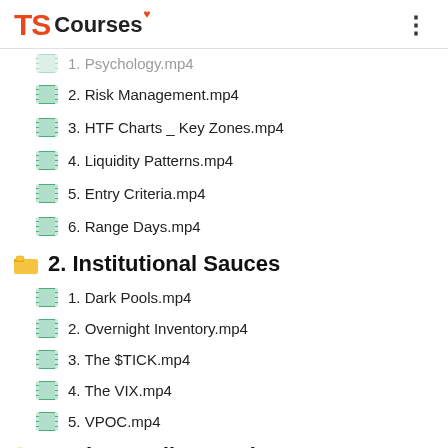TS Courses
1. Psychology.mp4 (partially visible)
2. Risk Management.mp4
3. HTF Charts _ Key Zones.mp4
4. Liquidity Patterns.mp4
5. Entry Criteria.mp4
6. Range Days.mp4
2. Institutional Sauces
1. Dark Pools.mp4
2. Overnight Inventory.mp4
3. The $TICK.mp4
4. The VIX.mp4
5. VPOC.mp4
3. Live Trading Replays (partially visible)